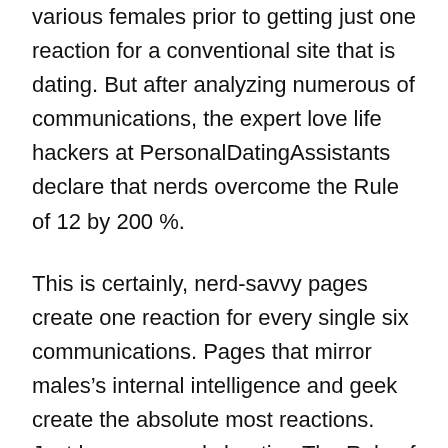various females prior to getting just one reaction for a conventional site that is dating. But after analyzing numerous of communications, the expert love life hackers at PersonalDatingAssistants declare that nerds overcome the Rule of 12 by 200 %.
This is certainly, nerd-savvy pages create one reaction for every single six communications. Pages that mirror males’s internal intelligence and geek create the absolute most reactions. Just how are nerds beating The Rule of 12 with regards to internet dating for males?
The standard concept of a “nerd” from Merriam